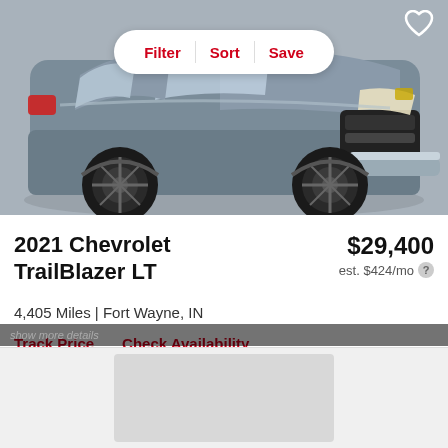[Figure (photo): 2021 Chevrolet TrailBlazer LT SUV in gray/silver color, front three-quarter view, on a gray background. A Filter/Sort/Save toolbar overlays the top center, and a heart icon appears at top right.]
2021 Chevrolet TrailBlazer LT
$29,400
est. $424/mo
4,405 Miles | Fort Wayne, IN
Track Price   Check Availability
[Figure (screenshot): Partially visible second car listing card at the bottom of the page, mostly obscured.]